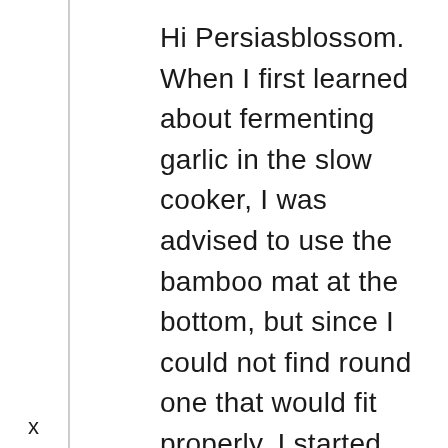Hi Persiasblossom. When I first learned about fermenting garlic in the slow cooker, I was advised to use the bamboo mat at the bottom, but since I could not find round one that would fit properly, I started using regular kitchen paper towels. The benefit I see from using paper towels is collecting moisture, prevent burning